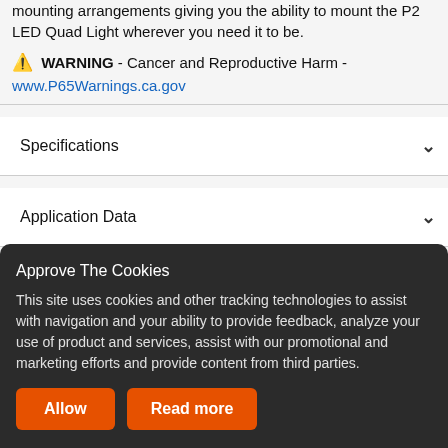mounting arrangements giving you the ability to mount the P2 LED Quad Light wherever you need it to be.
⚠ WARNING - Cancer and Reproductive Harm - www.P65Warnings.ca.gov
Specifications
Application Data
Warranty
Approve The Cookies
This site uses cookies and other tracking technologies to assist with navigation and your ability to provide feedback, analyze your use of product and services, assist with our promotional and marketing efforts and provide content from third parties.